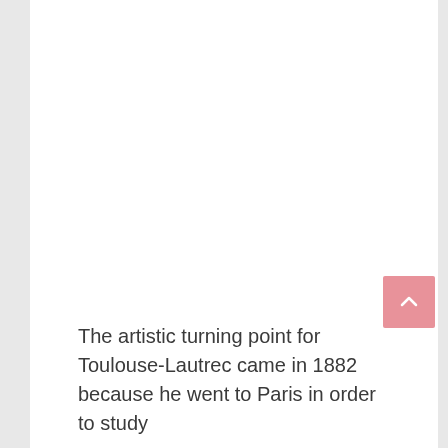[Figure (other): Scroll-to-top button with upward chevron arrow, salmon/pink colored square button positioned in lower right area of the page]
The artistic turning point for Toulouse-Lautrec came in 1882 because he went to Paris in order to study